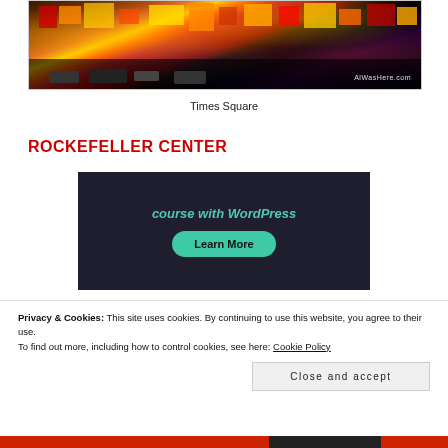[Figure (photo): Night photo of Times Square with bright neon lights, traffic, billboards, and crowds. Watermark reads 'AlWasHere.com']
Times Square
ROCKEFELLER CENTER
[Figure (screenshot): Dark-themed advertisement banner with teal italic text 'course with WordPress' and a teal rounded 'Learn More' button]
Privacy & Cookies: This site uses cookies. By continuing to use this website, you agree to their use.
To find out more, including how to control cookies, see here: Cookie Policy
Close and accept